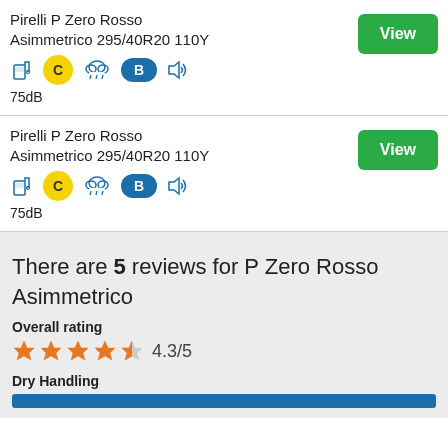Pirelli P Zero Rosso Asimmetrico 295/40R20 110Y
[Figure (infographic): Fuel efficiency icon (pump), yellow C badge, rain cloud icon, blue B badge, sound icon, 75dB text]
75dB
Pirelli P Zero Rosso Asimmetrico 295/40R20 110Y
[Figure (infographic): Fuel efficiency icon (pump), yellow C badge, rain cloud icon, blue B badge, sound icon, 75dB text]
75dB
There are 5 reviews for P Zero Rosso Asimmetrico
Overall rating
[Figure (infographic): 4.3 out of 5 stars rating with orange stars]
4.3/5
Dry Handling